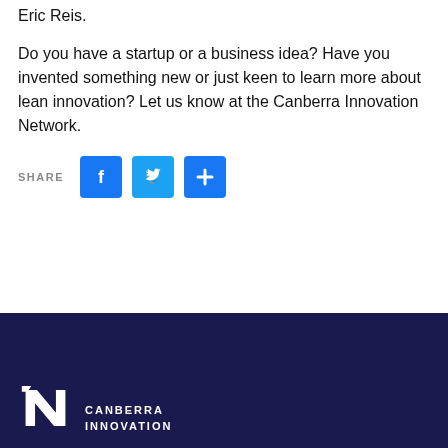This involves further reading: The Lean Startup by Eric Reis.
Do you have a startup or a business idea? Have you invented something new or just keen to learn more about lean innovation? Let us know at the Canberra Innovation Network.
SHARE
[Figure (logo): Canberra Innovation Network logo in white on dark navy footer background, showing stylized IN letters with text CANBERRA INNOVATION]
CANBERRA INNOVATION